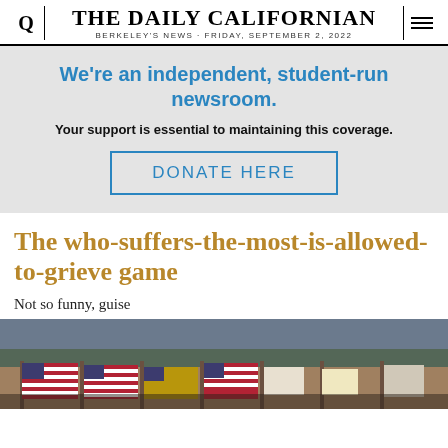THE DAILY CALIFORNIAN — BERKELEY'S NEWS · FRIDAY, SEPTEMBER 2, 2022
We're an independent, student-run newsroom. Your support is essential to maintaining this coverage. DONATE HERE
The who-suffers-the-most-is-allowed-to-grieve game
Not so funny, guise
[Figure (photo): Outdoor scene with multiple American flags and protest signs displayed along a fence or barrier, trees visible in background]